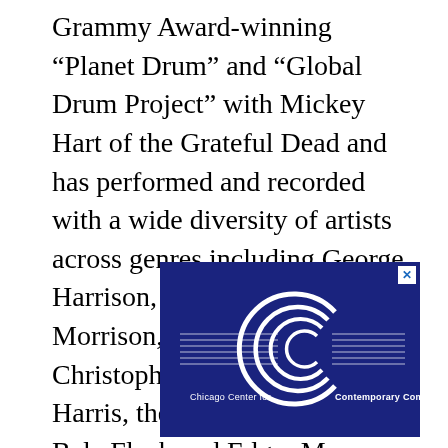Grammy Award-winning “Planet Drum” and “Global Drum Project” with Mickey Hart of the Grateful Dead and has performed and recorded with a wide diversity of artists across genres including George Harrison, Yo-Yo Ma, Van Morrison, Mark Morris, Christoph Eschenbach, Rennie Harris, the Kodo Drummers and Bela Fleck and Edgar Meyer, among others.
[Figure (logo): Chicago Center for Contemporary Composition logo on dark blue background with a stylized letter C made of concentric arcs, with horizontal lines extending from both sides]